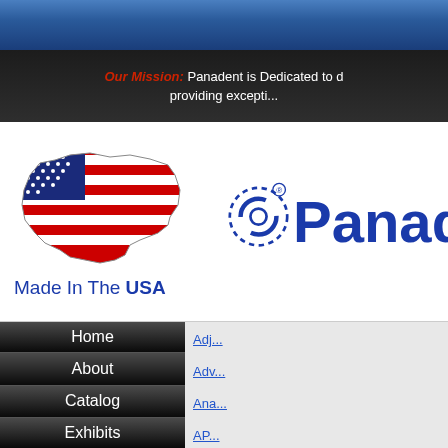Our Mission: Panadent is Dedicated to d... providing excepti...
[Figure (logo): USA map with flag colors and Panadent company logo with circular stethoscope icon]
Made In The USA
Home
About
Catalog
Exhibits
Adj...
Adv...
Ana...
AP...